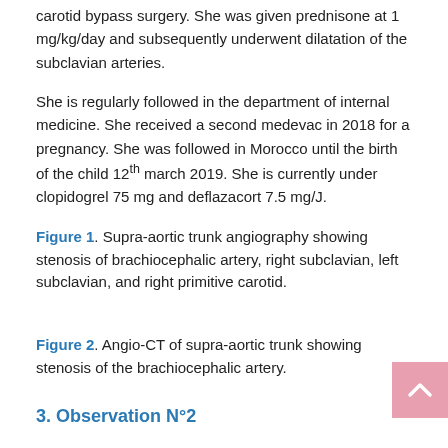carotid bypass surgery. She was given prednisone at 1 mg/kg/day and subsequently underwent dilatation of the subclavian arteries.
She is regularly followed in the department of internal medicine. She received a second medevac in 2018 for a pregnancy. She was followed in Morocco until the birth of the child 12th march 2019. She is currently under clopidogrel 75 mg and deflazacort 7.5 mg/J.
Figure 1. Supra-aortic trunk angiography showing stenosis of brachiocephalic artery, right subclavian, left subclavian, and right primitive carotid.
Figure 2. Angio-CT of supra-aortic trunk showing stenosis of the brachiocephalic artery.
3. Observation N°2